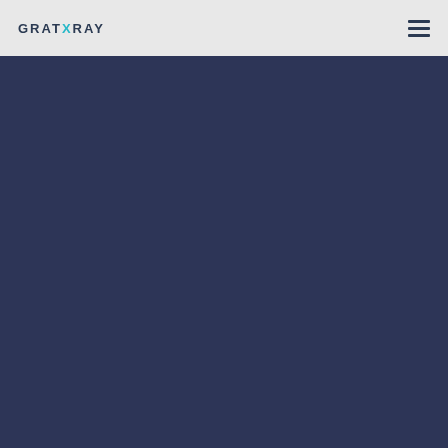GRATXRAY
[Figure (other): Dark navy blue background area filling the main content area below the header]